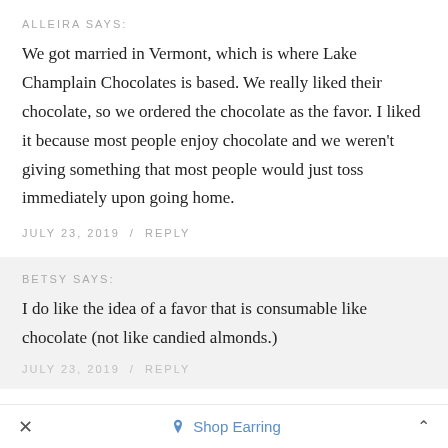ALLEIRA SAYS:
We got married in Vermont, which is where Lake Champlain Chocolates is based. We really liked their chocolate, so we ordered the chocolate as the favor. I liked it because most people enjoy chocolate and we weren't giving something that most people would just toss immediately upon going home.
JULY 23, 2019 / REPLY
BETSY SAYS:
I do like the idea of a favor that is consumable like chocolate (not like candied almonds.)
JULY 23, 2019 / REPLY
Shop Earring